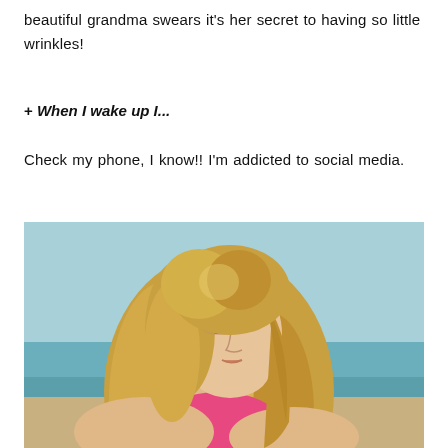beautiful grandma swears it’s her secret to having so little wrinkles!
+ When I wake up I…
Check my phone, I know!! I’m addicted to social media.
[Figure (photo): Young blonde woman at the beach, wearing a pink bikini top, looking to the side with wavy hair, ocean and sky in the background.]